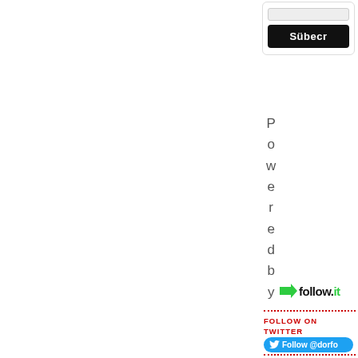[Figure (screenshot): Subscribe form widget with a text input and a black 'Sübecr' button inside a white card with border]
Powered by
[Figure (logo): follow.it logo with green arrow and bold text]
FOLLOW ON TWITTER
[Figure (screenshot): Blue Twitter follow button with bird icon reading 'Follow @dorfo']